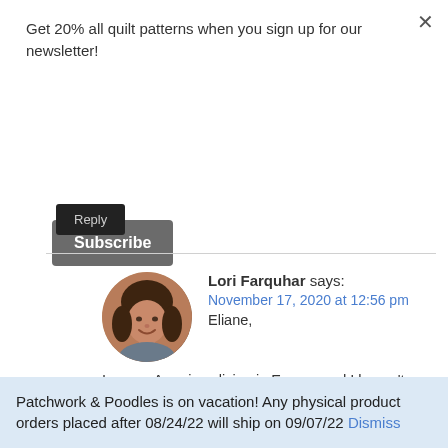Get 20% all quilt patterns when you sign up for our newsletter!
Subscribe
Reply
Lori Farquhar says: November 17, 2020 at 12:56 pm Eliane,
[Figure (photo): Circular avatar photo of a woman with brown hair, smiling]
I am an American living in Europe and I haven't found quilt batting here that like. Europeans use duvets and...
Patchwork & Poodles is on vacation! Any physical product orders placed after 08/24/22 will ship on 09/07/22 Dismiss